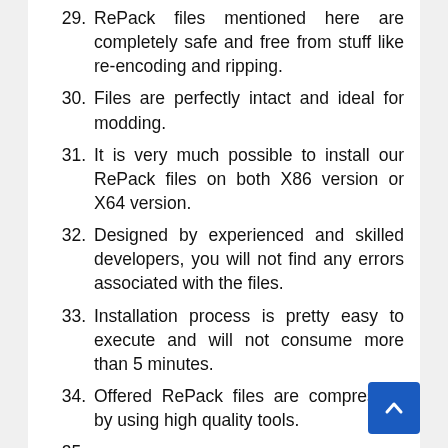29. RePack files mentioned here are completely safe and free from stuff like re-encoding and ripping.
30. Files are perfectly intact and ideal for modding.
31. It is very much possible to install our RePack files on both X86 version or X64 version.
32. Designed by experienced and skilled developers, you will not find any errors associated with the files.
33. Installation process is pretty easy to execute and will not consume more than 5 minutes.
34. Offered RePack files are compressed by using high quality tools.
35. (partially visible)